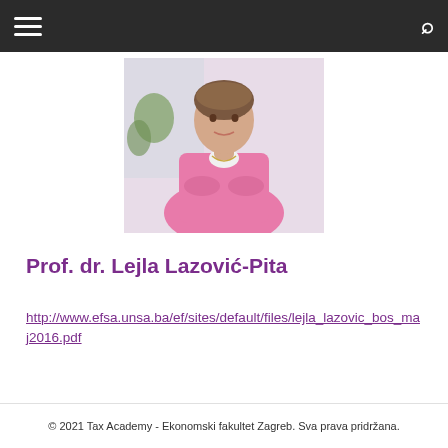[Figure (photo): Portrait photo of a woman in a pink blazer with arms crossed, standing indoors near a window with plants in background]
Prof. dr. Lejla Lazović-Pita
http://www.efsa.unsa.ba/ef/sites/default/files/lejla_lazovic_bos_maj2016.pdf
© 2021 Tax Academy - Ekonomski fakultet Zagreb. Sva prava pridržana.